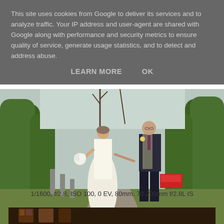This site uses cookies from Google to deliver its services and to analyze traffic. Your IP address and user-agent are shared with Google along with performance and security metrics to ensure quality of service, generate usage statistics, and to detect and address abuse.
LEARN MORE   OK
[Figure (photo): Wedding photo of a bride in a white dress holding a white bouquet and a groom in a dark suit with a purple tie, walking hand-in-hand along a garden path lined with tall hedges, smiling at the camera.]
1/1600, f/2.8, ISO 100, 0 EV, 80mm, 70-200mm f/2.8L IS
[Figure (photo): Partial view of a second wedding photo showing a dark interior scene, likely a church.]